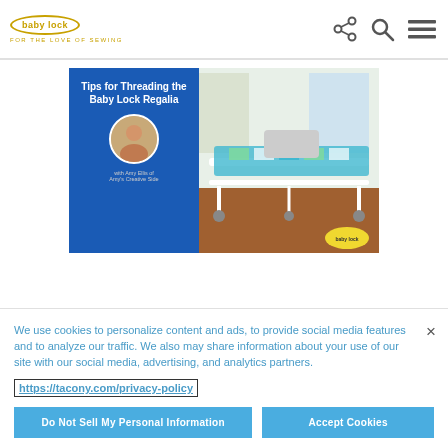[Figure (logo): Baby Lock logo with oval border and tagline FOR THE LOVE OF SEWING in gold]
[Figure (screenshot): Thumbnail for a video titled Tips for Threading the Baby Lock Regalia, showing a quilting machine on the right and a blue panel with title and host photo on the left, with Amy Ellis of Amy's Creative Side]
We use cookies to personalize content and ads, to provide social media features and to analyze our traffic. We also may share information about your use of our site with our social media, advertising, and analytics partners.
https://tacony.com/privacy-policy
Do Not Sell My Personal Information
Accept Cookies